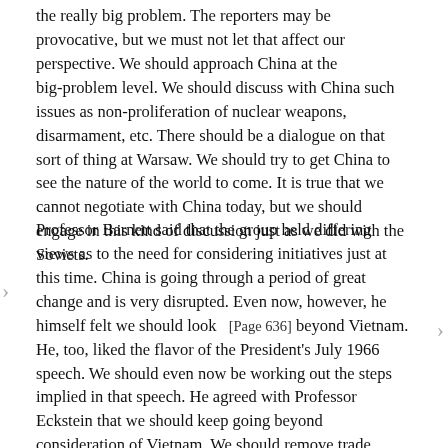the really big problem. The reporters may be provocative, but we must not let that affect our perspective. We should approach China at the big-problem level. We should discuss with China such issues as non-proliferation of nuclear weapons, disarmament, etc. There should be a dialogue on that sort of thing at Warsaw. We should try to get China to see the nature of the world to come. It is true that we cannot negotiate with China today, but we should engage in this kind of discussion just as we did with the Soviets.
Professor Barnett said that the group held differing views as to the need for considering initiatives just at this time. China is going through a period of great change and is very disrupted. Even now, however, he himself felt we should look [Page 636] beyond Vietnam. He, too, liked the flavor of the President's July 1966 speech. We should even now be working out the steps implied in that speech. He agreed with Professor Eckstein that we should keep going beyond consideration of Vietnam. We should remove trade restrictions except for the basic COCOM list. We should get China into the international community. We should work actively toward achieving dual Chinese representation in